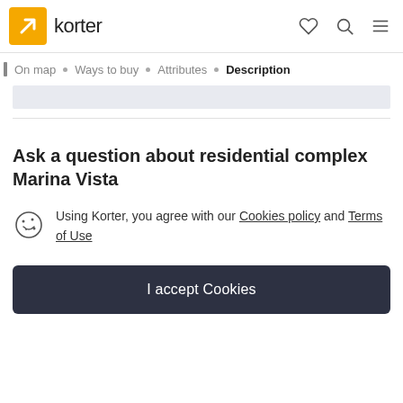korter
On map · Ways to buy · Attributes · Description
Ask a question about residential complex Marina Vista
Using Korter, you agree with our Cookies policy and Terms of Use
I accept Cookies